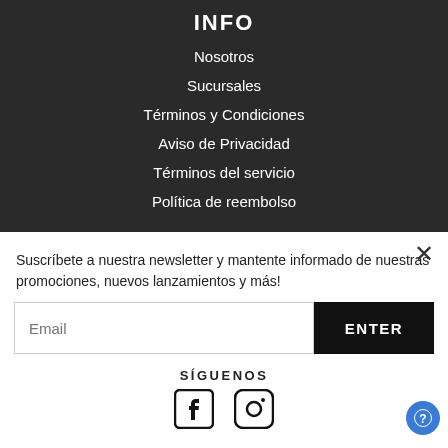INFO
Nosotros
Sucursales
Términos y Condiciones
Aviso de Privacidad
Términos del servicio
Política de reembolso
Suscríbete a nuestra newsletter y mantente informado de nuestras promociones, nuevos lanzamientos y más!
Email
ENTER
SÍGUENOS
[Figure (illustration): Facebook and Instagram social media icons]